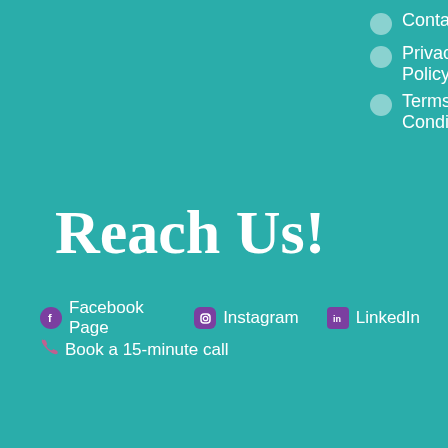Contact Us
Privacy Policy
Terms and Conditions
Reach Us!
Facebook Page
Instagram
LinkedIn
Book a 15-minute call